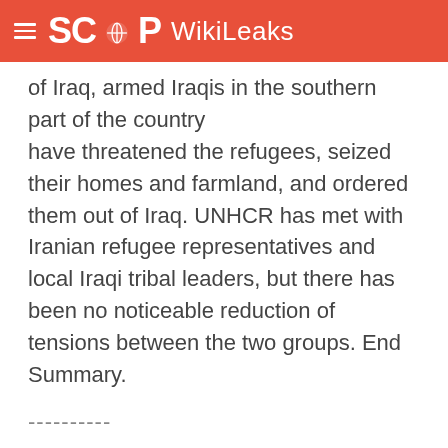SCOOP WikiLeaks
of Iraq, armed Iraqis in the southern part of the country have threatened the refugees, seized their homes and farmland, and ordered them out of Iraq. UNHCR has met with Iranian refugee representatives and local Iraqi tribal leaders, but there has been no noticeable reduction of tensions between the two groups. End Summary.
----------
BACKGROUND
----------